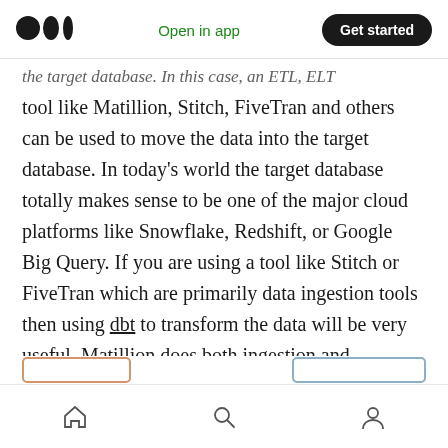Medium logo | Open in app | Get started
…the target database. In this case, an ETL…
tool like Matillion, Stitch, FiveTran and others can be used to move the data into the target database. In today's world the target database totally makes sense to be one of the major cloud platforms like Snowflake, Redshift, or Google Big Query. If you are using a tool like Stitch or FiveTran which are primarily data ingestion tools then using dbt to transform the data will be very useful. Matillion does both ingestion and transformation as well as orchestration.
Home | Search | Profile